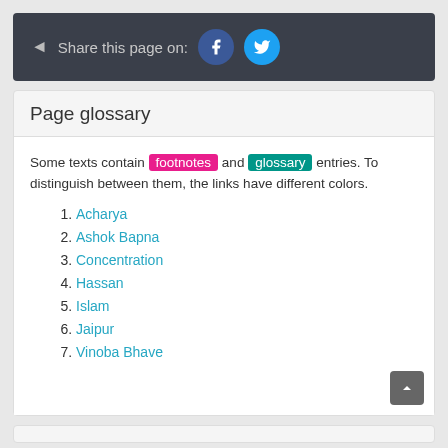Share this page on: [Facebook] [Twitter]
Page glossary
Some texts contain footnotes and glossary entries. To distinguish between them, the links have different colors.
Acharya
Ashok Bapna
Concentration
Hassan
Islam
Jaipur
Vinoba Bhave